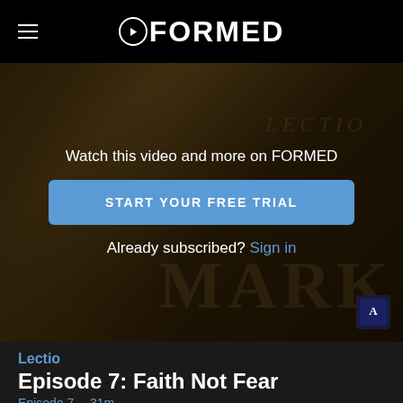FORMED
[Figure (screenshot): Video thumbnail showing a bearded figure with ancient manuscript background, faded text 'LECTIO' and 'MARK' visible, with a dark overlay and a subscription prompt overlay showing 'Watch this video and more on FORMED', a blue 'START YOUR FREE TRIAL' button, and 'Already subscribed? Sign in' text.]
Watch this video and more on FORMED
START YOUR FREE TRIAL
Already subscribed? Sign in
Lectio
Episode 7: Faith Not Fear
Episode 7 · 31m